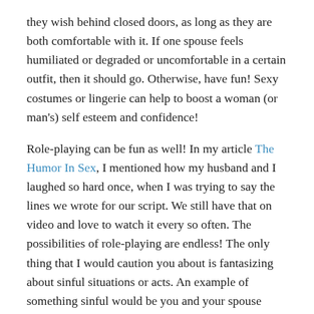they wish behind closed doors, as long as they are both comfortable with it. If one spouse feels humiliated or degraded or uncomfortable in a certain outfit, then it should go. Otherwise, have fun! Sexy costumes or lingerie can help to boost a woman (or man's) self esteem and confidence!
Role-playing can be fun as well! In my article The Humor In Sex, I mentioned how my husband and I laughed so hard once, when I was trying to say the lines we wrote for our script. We still have that on video and love to watch it every so often. The possibilities of role-playing are endless! The only thing that I would caution you about is fantasizing about sinful situations or acts. An example of something sinful would be you and your spouse fantasizing about having a threesome with another person. That just wouldn't be healthy for your marriage at all.
But go ahead and buy some novelty handcuffs and play police